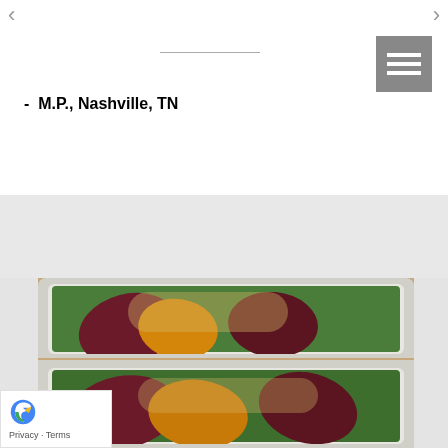- M.P., Nashville, TN
[Figure (photo): Two white rectangular meal prep containers filled with beet salad — dark purple beet slices and golden beet slices arranged over green leafy greens, topped with sesame seeds. Photo taken from above on a stainless steel surface.]
Privacy · Terms